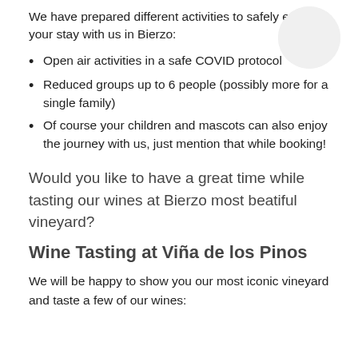We have prepared different activities to safely enjoy your stay with us in Bierzo:
[Figure (illustration): Shopping cart icon inside a light gray circle]
Open air activities in a safe COVID protocol
Reduced groups up to 6 people (possibly more for a single family)
Of course your children and mascots can also enjoy the journey with us, just mention that while booking!
Would you like to have a great time while tasting our wines at Bierzo most beatiful vineyard?
Wine Tasting at Viña de los Pinos
We will be happy to show you our most iconic vineyard and taste a few of our wines: